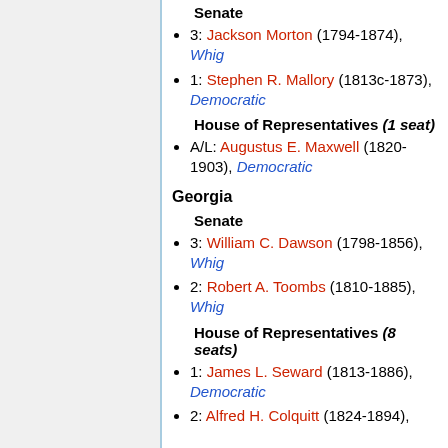Senate
3: Jackson Morton (1794-1874), Whig
1: Stephen R. Mallory (1813c-1873), Democratic
House of Representatives (1 seat)
A/L: Augustus E. Maxwell (1820-1903), Democratic
Georgia
Senate
3: William C. Dawson (1798-1856), Whig
2: Robert A. Toombs (1810-1885), Whig
House of Representatives (8 seats)
1: James L. Seward (1813-1886), Democratic
2: Alfred H. Colquitt (1824-1894),